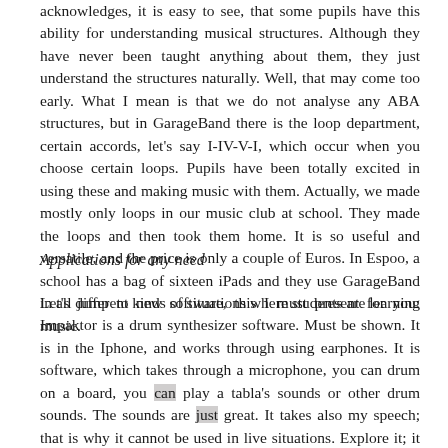acknowledges, it is easy to see, that some pupils have this ability for understanding musical structures. Although they have never been taught anything about them, they just understand the structures naturally. Well, that may come too early. What I mean is that we do not analyse any ABA structures, but in GarageBand there is the loop department, certain accords, let's say I-IV-V-I, which occur when you choose certain loops. Pupils have been totally excited in using these and making music with them. Actually, we made mostly only loops in our music club at school. They made the loops and then took them home. It is so useful and versatile, and the price is only a couple of Euros. In Espoo, a school has a bag of sixteen iPads and they use GarageBand in all different kinds of situations where students are learning music.
Applications for any need
Let's jump to new software, this I must present for you: Impaktor is a drum synthesizer software. Must be shown. It is in the Iphone, and works through using earphones. It is software, which takes through a microphone, you can drum on a board, you can play a tabla's sounds or other drum sounds. The sounds are just great. It takes also my speech; that is why it cannot be used in live situations. Explore it; it is fun, only 2,5 Euros. I also have to show you Voiceband apps, where you can build the whole band just by using singing. Everything can be made by singing.